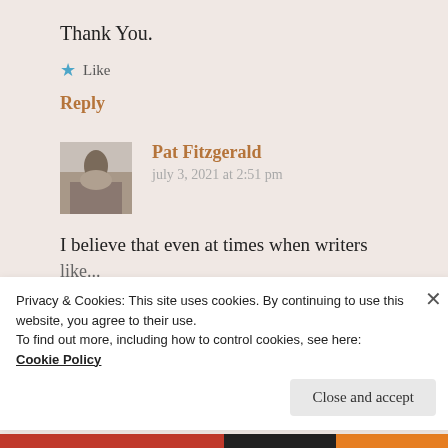Thank You.
★ Like
Reply
Pat Fitzgerald
july 3, 2021 at 2:51 pm
I believe that even at times when writers like...
Privacy & Cookies: This site uses cookies. By continuing to use this website, you agree to their use.
To find out more, including how to control cookies, see here:
Cookie Policy
Close and accept